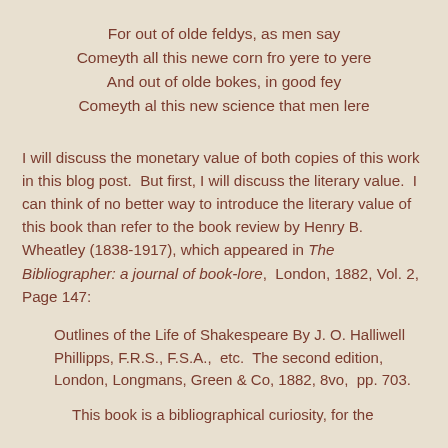For out of olde feldys, as men say
Comeyth all this newe corn fro yere to yere
And out of olde bokes, in good fey
Comeyth al this new science that men lere
I will discuss the monetary value of both copies of this work in this blog post.  But first, I will discuss the literary value.  I can think of no better way to introduce the literary value of this book than refer to the book review by Henry B. Wheatley (1838-1917), which appeared in The Bibliographer: a journal of book-lore,  London, 1882, Vol. 2, Page 147:
Outlines of the Life of Shakespeare By J. O. Halliwell Phillipps, F.R.S., F.S.A.,  etc.  The second edition, London, Longmans, Green & Co, 1882, 8vo,  pp. 703.
This book is a bibliographical curiosity, for the